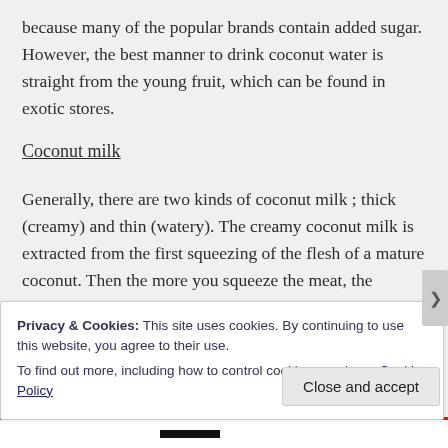because many of the popular brands contain added sugar. However, the best manner to drink coconut water is straight from the young fruit, which can be found in exotic stores.
Coconut milk
Generally, there are two kinds of coconut milk ; thick (creamy) and thin (watery). The creamy coconut milk is extracted from the first squeezing of the flesh of a mature coconut. Then the more you squeeze the meat, the thinnest the milk you will obtain.
You can find it in world food sections in supermarket or in
Privacy & Cookies: This site uses cookies. By continuing to use this website, you agree to their use.
To find out more, including how to control cookies, see here: Cookie Policy